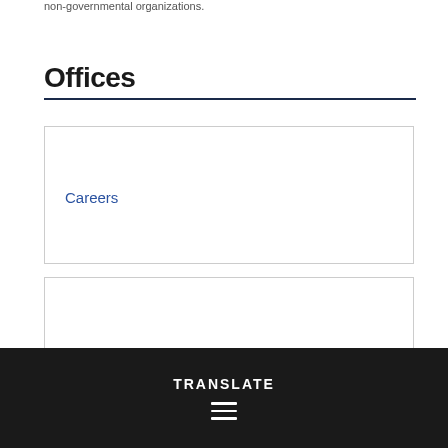non-governmental organizations.
Offices
Careers
TRANSLATE